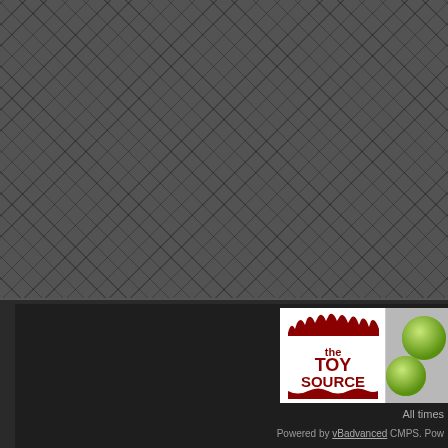[Figure (screenshot): Dark textured background with diamond/quilted pattern in dark gray]
[Figure (logo): The Toy Source logo with red text on white background, with green balls/apples visible to the right. Silhouette of figures at top.]
All times
Powered by vBadvanced CMPS. Pow